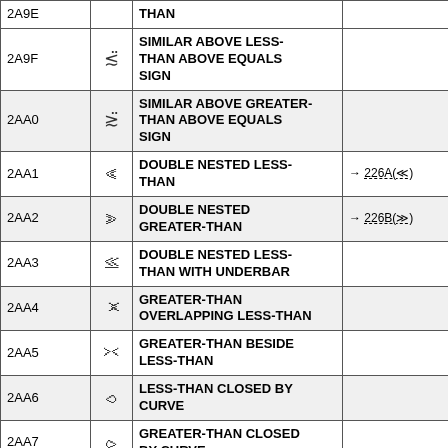| Code | Symbol | Name | Cross-ref |
| --- | --- | --- | --- |
| 2A9E (cont.) |  | THAN |  |
| 2A9F | ≲̈ | SIMILAR ABOVE LESS-THAN ABOVE EQUALS SIGN |  |
| 2AA0 | ≳̈ | SIMILAR ABOVE GREATER-THAN ABOVE EQUALS SIGN |  |
| 2AA1 | ⪡ | DOUBLE NESTED LESS-THAN | → 226A(≪) |
| 2AA2 | ⪢ | DOUBLE NESTED GREATER-THAN | → 226B(≫) |
| 2AA3 | ⪣ | DOUBLE NESTED LESS-THAN WITH UNDERBAR |  |
| 2AA4 | ⪤ | GREATER-THAN OVERLAPPING LESS-THAN |  |
| 2AA5 | ⪥ | GREATER-THAN BESIDE LESS-THAN |  |
| 2AA6 | ⪦ | LESS-THAN CLOSED BY CURVE |  |
| 2AA7 | ⪧ | GREATER-THAN CLOSED BY CURVE |  |
|  |  | LESS-THAN CLOSED BY |  |